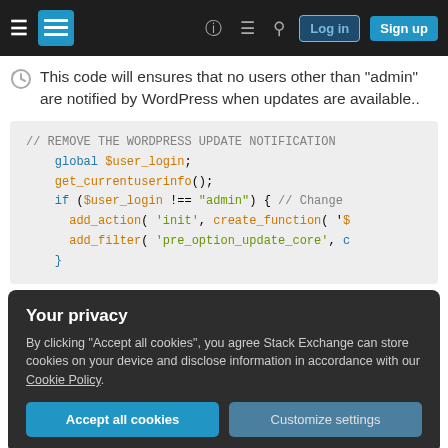Stack Exchange navigation bar with Log in and Sign up buttons
This code will ensures that no users other than "admin" are notified by WordPress when updates are available..
[Figure (screenshot): Code block showing PHP snippet to remove WordPress update notification for non-admin users. Code includes: // REMOVE THE WORDPRESS UPDATE NOTIFICATION, global $user_login;, get_currentuserinfo();, if ($user_login !== "admin") { // Change, add_action( 'init', create_function( '$, add_filter( 'pre_option_update_core', c, }]
Your privacy
By clicking "Accept all cookies", you agree Stack Exchange can store cookies on your device and disclose information in accordance with our Cookie Policy.
Accept all cookies   Customize settings
[Figure (screenshot): Bottom peek of another code block showing get_currentuserinfo(); and if (!current_user_can('update_plugin)]